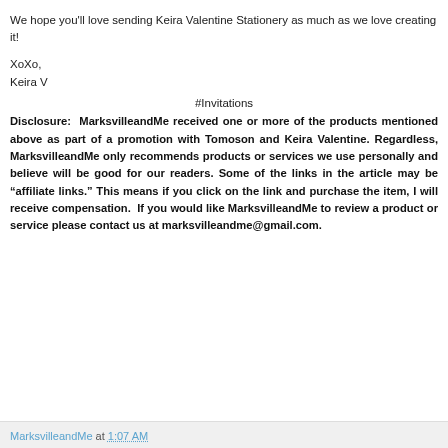We hope you'll love sending Keira Valentine Stationery as much as we love creating it!
XoXo,
Keira V
#Invitations
Disclosure:  MarksvilleandMe received one or more of the products mentioned above as part of a promotion with Tomoson and Keira Valentine. Regardless, MarksvilleandMe only recommends products or services we use personally and believe will be good for our readers. Some of the links in the article may be “affiliate links.” This means if you click on the link and purchase the item, I will receive compensation.  If you would like MarksvilleandMe to review a product or service please contact us at marksvilleandme@gmail.com.
MarksvilleandMe at 1:07 AM